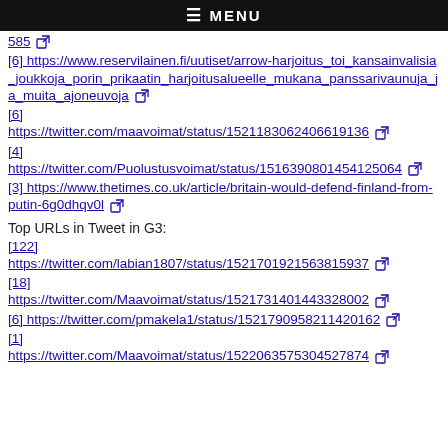≡ MENU
[partial URL ending in 585] [external link icon]
[6] https://www.reservilainen.fi/uutiset/arrow-harjoitus_toi_kansainvalisia_joukkoja_porin_prikaatin_harjoitusalueelle_mukana_panssarivaunuja_ja_muita_ajoneuvoja [external link icon]
[6] https://twitter.com/maavoimat/status/1521183062406619136 [external link icon]
[4] https://twitter.com/Puolustusvoimat/status/1516390801454125064 [external link icon]
[3] https://www.thetimes.co.uk/article/britain-would-defend-finland-from-putin-6g0dhqv0l [external link icon]
Top URLs in Tweet in G3:
[122] https://twitter.com/labian1807/status/1521701921563815937 [external link icon]
[18] https://twitter.com/Maavoimat/status/1521731401443328002 [external link icon]
[6] https://twitter.com/pmakela1/status/1521790958211420162 [external link icon]
[1] https://twitter.com/Maavoimat/status/1522063575304527874 [external link icon]